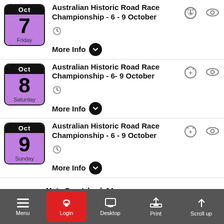Oct 7 Friday - Australian Historic Road Race Championship - 6 - 9 October
Oct 8 Saturday - Australian Historic Road Race Championship - 6- 9 October
Oct 9 Sunday - Australian Historic Road Race Championship - 6 - 9 October
Oct - Moto G... p Island, 14 - 16 Oc...
Menu | Login | Desktop | Print | Scroll up